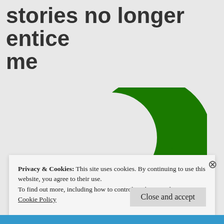stories no longer entice me
[Figure (illustration): Green crescent moon and star symbol (Islamic crescent), rendered in dark green on a light grey background.]
Privacy & Cookies: This site uses cookies. By continuing to use this website, you agree to their use.
To find out more, including how to control cookies, see here:
Cookie Policy
Close and accept